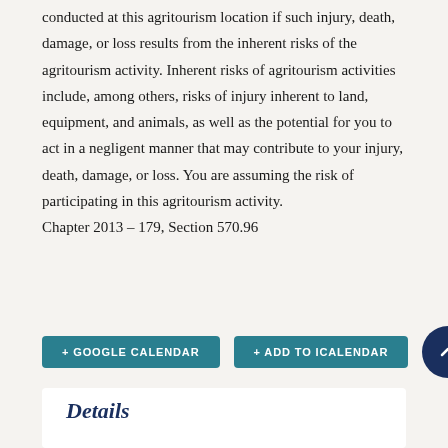conducted at this agritourism location if such injury, death, damage, or loss results from the inherent risks of the agritourism activity. Inherent risks of agritourism activities include, among others, risks of injury inherent to land, equipment, and animals, as well as the potential for you to act in a negligent manner that may contribute to your injury, death, damage, or loss. You are assuming the risk of participating in this agritourism activity. Chapter 2013 – 179, Section 570.96
+ GOOGLE CALENDAR
+ ADD TO ICALENDAR
Details